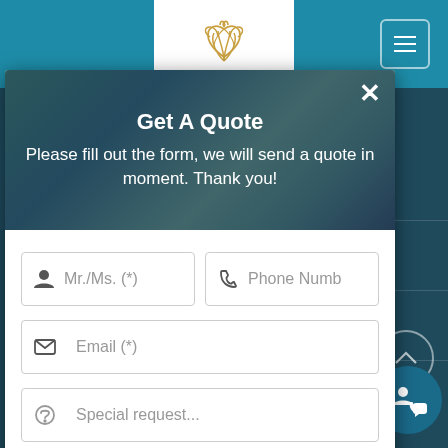[Figure (screenshot): Hotel website screenshot showing a 'Get A Quote' modal popup overlay on a resort booking page. The modal contains a form with fields for name (Mr./Ms.), phone number, email, and special request, plus a Submit Request button. The background shows a teal navigation bar with a floral logo and hamburger menu icon.]
Get A Quote
Please fill out the form, we will send a quote in moment. Thank you!